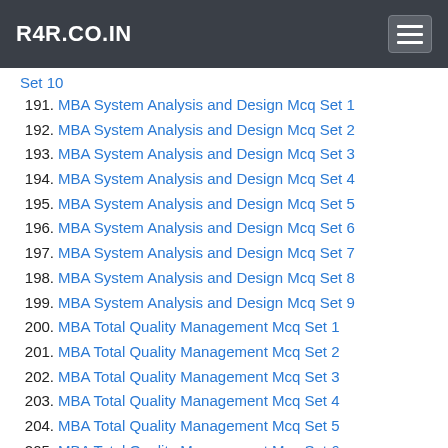R4R.CO.IN
Set 10
191. MBA System Analysis and Design Mcq Set 1
192. MBA System Analysis and Design Mcq Set 2
193. MBA System Analysis and Design Mcq Set 3
194. MBA System Analysis and Design Mcq Set 4
195. MBA System Analysis and Design Mcq Set 5
196. MBA System Analysis and Design Mcq Set 6
197. MBA System Analysis and Design Mcq Set 7
198. MBA System Analysis and Design Mcq Set 8
199. MBA System Analysis and Design Mcq Set 9
200. MBA Total Quality Management Mcq Set 1
201. MBA Total Quality Management Mcq Set 2
202. MBA Total Quality Management Mcq Set 3
203. MBA Total Quality Management Mcq Set 4
204. MBA Total Quality Management Mcq Set 5
205. MBA Total Quality Management Mcq Set 6
206. MBA Total Quality Management Mcq Set 7